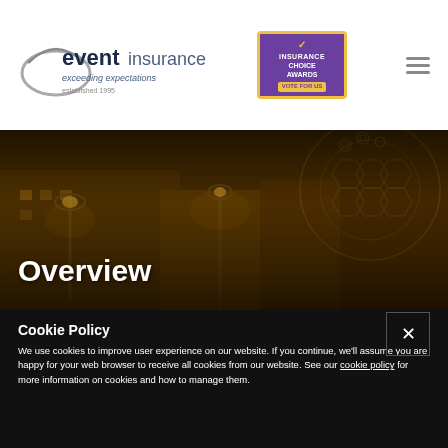[Figure (logo): Event Insurance logo with arc/swoosh graphic. Text reads 'event insurance' with tagline 'exceeding expectations' and 'established 1995']
[Figure (logo): Insurance Choice Awards badge - purple with gold border, checkmark graphic, text 'INSURANCE CHOICE AWARDS' and 'VOTE FOR US' button]
[Figure (photo): Night street scene with warm amber/golden lighting, ornate street lamps, decorated with circular patterned ornaments. Overlay text: 'Overview']
Overview
Cookie Policy
We use cookies to improve user experience on our website. If you continue, we'll assume you are happy for your web browser to receive all cookies from our website. See our cookie policy for more information on cookies and how to manage them.